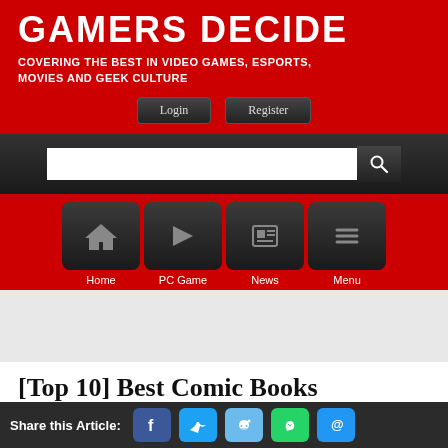GAMERS DECIDE
COVERING THE BEST IN VIDEO GAMES, ESPORTS, MOVIES AND GEEK CULTURE
[Figure (screenshot): Website navigation screenshot showing Gamers Decide header with Login/Register buttons, search bar, and navigation icons for Home, PC Game, News, Menu]
[Top 10] Best Comic Books For Kids
Share this Article: